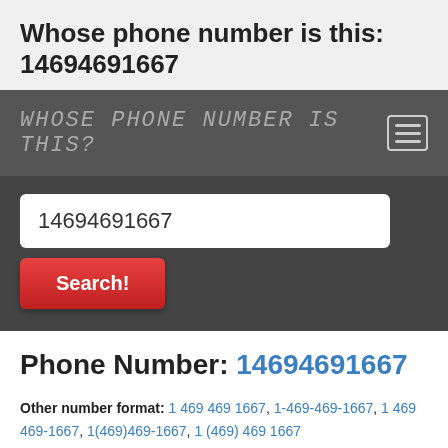Whose phone number is this: 14694691667
WHOSE PHONE NUMBER IS THIS?
14694691667
Search!
Phone Number: 14694691667
Other number format: 1 469 469 1667, 1-469-469-1667, 1 469 469-1667, 1(469)469-1667, 1 (469) 469 1667
In words: one, four, six, nine, four, six, nine, one, six, six, seven,